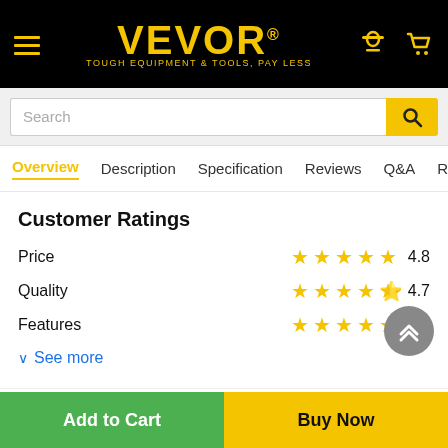VEVOR® TOUGH EQUIPMENT & TOOLS, PAY LESS
Search
Overview  Description  Specification  Reviews  Q&A  Reco
Customer Ratings
Price  ★★★★★ 4.8
Quality  ★★★★½ 4.7
Features  ★★★★½ 4.7
See more
Omar  Feb 28, 2022
Add to Cart
Buy Now